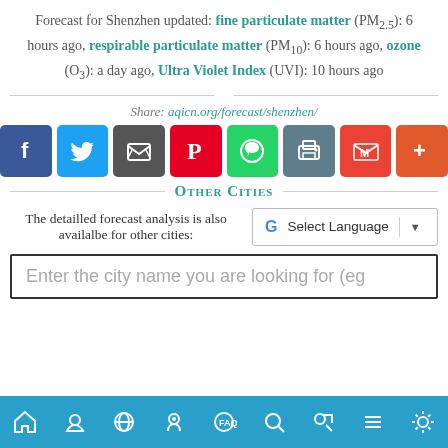Forecast for Shenzhen updated: fine particulate matter (PM2.5): 6 hours ago, respirable particulate matter (PM10): 6 hours ago, ozone (O3): a day ago, Ultra Violet Index (UVI): 10 hours ago
Share: aqicn.org/forecast/shenzhen/
[Figure (infographic): Social sharing buttons: Facebook, Twitter, Email, Pinterest, WhatsApp, Print, Gmail, More]
Other Cities
The detailled forecast analysis is also availalbe for other cities:
[Figure (screenshot): Google Translate Select Language widget]
Enter the city name you are looking for (eg